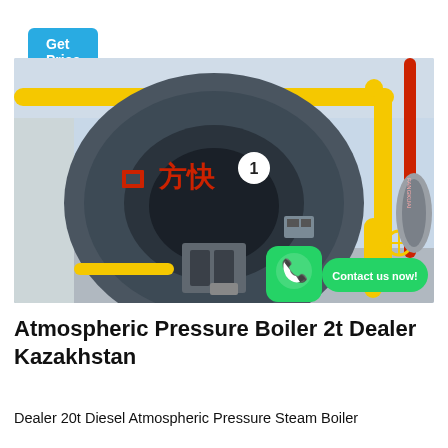Get Price
[Figure (photo): Industrial atmospheric pressure boiler (Fangkuai brand, Chinese characters 方快) with yellow gas pipes and red pipe on the right side, mounted in a factory/boiler room setting. A number '1' is visible in a white circle on the boiler face. WhatsApp icon and 'Contact us now!' green button overlay at bottom right.]
Atmospheric Pressure Boiler 2t Dealer Kazakhstan
Dealer 20t Diesel Atmospheric Pressure Steam Boiler